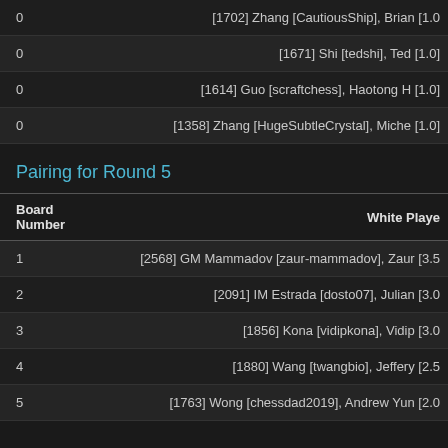|  | White Player |
| --- | --- |
| 0 | [1702] Zhang [CautiousShip], Brian [1.0] |
| 0 | [1671] Shi [tedshi], Ted [1.0] |
| 0 | [1614] Guo [scraftchess], Haotong H [1.0] |
| 0 | [1358] Zhang [HugeSubtleCrystal], Miche [1.0] |
Pairing for Round 5
| Board Number | White Player |
| --- | --- |
| 1 | [2568] GM Mammadov [zaur-mammadov], Zaur [3.5 |
| 2 | [2091] IM Estrada [dosto07], Julian [3.0 |
| 3 | [1856] Kona [vidipkona], Vidip [3.0 |
| 4 | [1880] Wang [twangbio], Jeffery [2.5 |
| 5 | [1763] Wong [chessdad2019], Andrew Yun [2.0 |